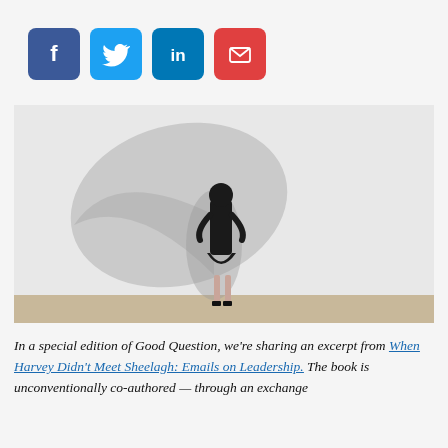[Figure (infographic): Four social media sharing buttons: Facebook (blue), Twitter (light blue), LinkedIn (dark blue), Email (red)]
[Figure (photo): A woman in black business attire standing with hands on hips facing a white wall, casting a shadow in the shape of a superhero with a cape.]
In a special edition of Good Question, we're sharing an excerpt from When Harvey Didn't Meet Sheelagh: Emails on Leadership. The book is unconventionally co-authored — through an exchange